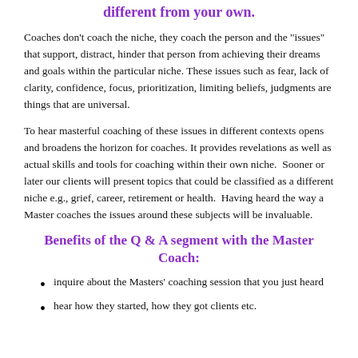different from your own.
Coaches don't coach the niche, they coach the person and the "issues" that support, distract, hinder that person from achieving their dreams and goals within the particular niche. These issues such as fear, lack of clarity, confidence, focus, prioritization, limiting beliefs, judgments are things that are universal.
To hear masterful coaching of these issues in different contexts opens and broadens the horizon for coaches. It provides revelations as well as actual skills and tools for coaching within their own niche.  Sooner or later our clients will present topics that could be classified as a different niche e.g., grief, career, retirement or health.  Having heard the way a Master coaches the issues around these subjects will be invaluable.
Benefits of the Q & A segment with the Master Coach:
inquire about the Masters' coaching session that you just heard
hear how they started, how they got clients etc.